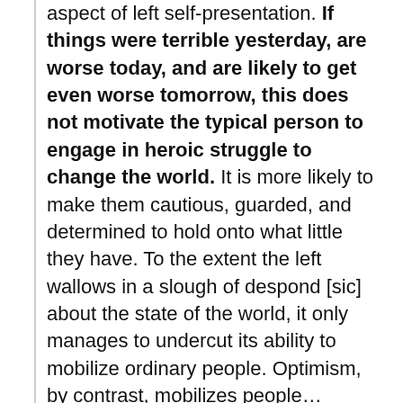aspect of left self-presentation. If things were terrible yesterday, are worse today, and are likely to get even worse tomorrow, this does not motivate the typical person to engage in heroic struggle to change the world. It is more likely to make them cautious, guarded, and determined to hold onto what little they have. To the extent the left wallows in a slough of despond [sic] about the state of the world, it only manages to undercut its ability to mobilize ordinary people. Optimism, by contrast, mobilizes people...Leftists and liberals should promote ... a sense that positive change has been, is, and will